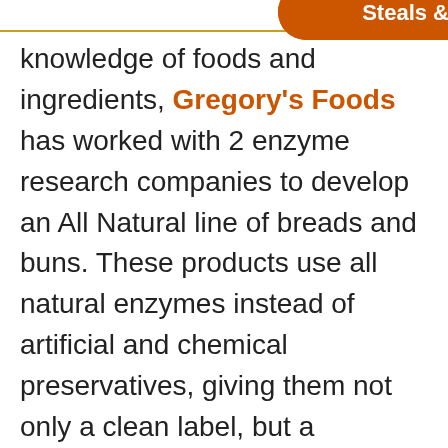ingredients.
[Figure (logo): Gregory's Foods logo — diamond shape with wheat stalk graphic and company name in navy blue serif font]
Gregory's also try to b... forward thinking. With advancements...
[Figure (photo): Exterior photo of a building or facility, light blue tones]
[Figure (logo): Facebook 'f' icon logo in white on blue square with rounded corners]
[Figure (other): Steals & Deals orange rounded button/banner]
knowledge of foods and ingredients, Gregory's Foods has worked with 2 enzyme research companies to develop an All Natural line of breads and buns. These products use all natural enzymes instead of artificial and chemical preservatives, giving them not only a clean label, but a